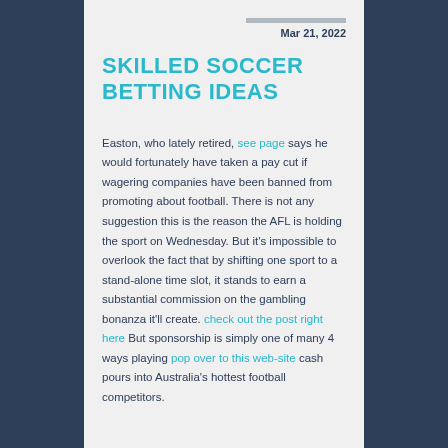Mar 21, 2022
SKILLED SOCCER BETTING IDEAS
Easton, who lately retired, see page says he would fortunately have taken a pay cut if wagering companies have been banned from promoting about football. There is not any suggestion this is the reason the AFL is holding the sport on Wednesday. But it's impossible to overlook the fact that by shifting one sport to a stand-alone time slot, it stands to earn a substantial commission on the gambling bonanza it'll create. check out the post right here But sponsorship is simply one of many 4 ways playing pop over to this web-site cash pours into Australia's hottest football competitors.